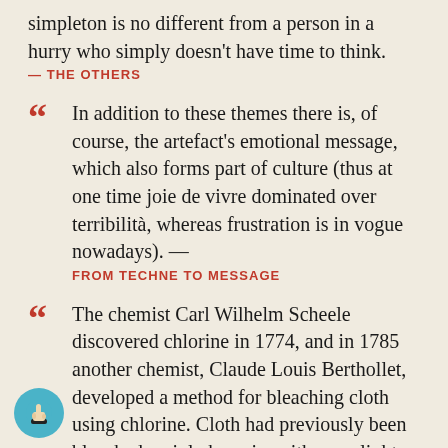simpleton is no different from a person in a hurry who simply doesn't have time to think.
— THE OTHERS
In addition to these themes there is, of course, the artefact's emotional message, which also forms part of culture (thus at one time joie de vivre dominated over terribilità, whereas frustration is in vogue nowadays). — FROM TECHNE TO MESSAGE
The chemist Carl Wilhelm Scheele discovered chlorine in 1774, and in 1785 another chemist, Claude Louis Berthollet, developed a method for bleaching cloth using chlorine. Cloth had previously been bleached mainly by using either sunlight (time-consuming, expensive, and impractical in northern countries) or ammonia from stale urine (quick but expensive). With the